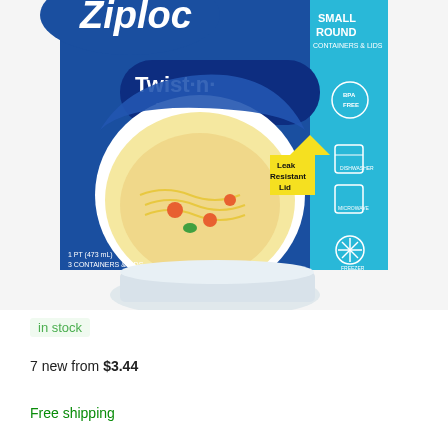[Figure (photo): Ziploc Twist n Loc Small Round Containers & Lids product packaging photo. The box is blue and cyan with white text reading 'Ziploc Twist n Loc SMALL ROUND CONTAINERS & LIDS'. A yellow arrow label says 'Leak Resistant Lid'. The box shows a bowl of noodle soup. Icons on the right side indicate BPA Free, Dishwasher safe, Microwave safe, and Freezer safe. Text at bottom left reads '1 PT (473 mL) 3 CONTAINERS & LIDS'. Below the box the clear plastic round container is visible.]
in stock
7 new from $3.44
Free shipping